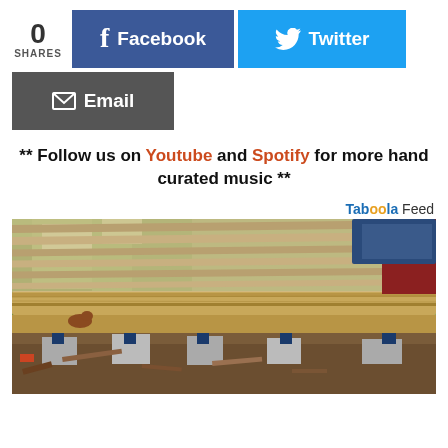0 SHARES
[Figure (screenshot): Social share buttons: Facebook (blue), Twitter (light blue), Email (dark grey)]
** Follow us on Youtube and Spotify for more hand curated music **
Taboola Feed
[Figure (photo): Photo of house foundation repair with wooden beams supported by hydraulic jacks on concrete blocks, green trees and a dog visible in the background]